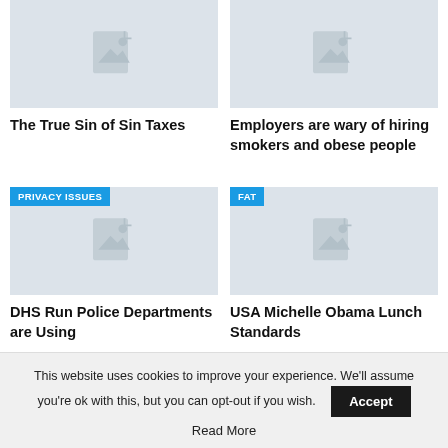[Figure (illustration): Grey placeholder image thumbnail with mountain/photo icon, no badge]
[Figure (illustration): Grey placeholder image thumbnail with mountain/photo icon, no badge]
The True Sin of Sin Taxes
Employers are wary of hiring smokers and obese people
[Figure (illustration): Grey placeholder image thumbnail with mountain/photo icon, PRIVACY ISSUES badge]
[Figure (illustration): Grey placeholder image thumbnail with mountain/photo icon, FAT badge]
DHS Run Police Departments are Using
USA Michelle Obama Lunch Standards
This website uses cookies to improve your experience. We'll assume you're ok with this, but you can opt-out if you wish.
Accept
Read More